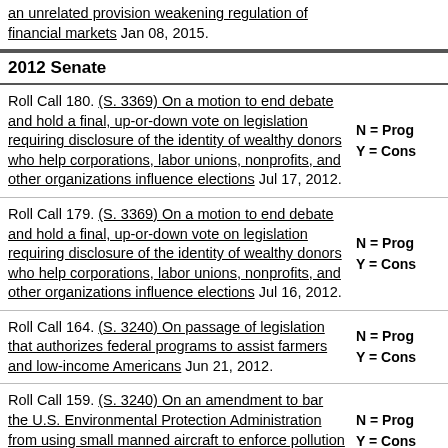an unrelated provision weakening regulation of financial markets Jan 08, 2015.
2012 Senate
Roll Call 180. (S. 3369) On a motion to end debate and hold a final, up-or-down vote on legislation requiring disclosure of the identity of wealthy donors who help corporations, labor unions, nonprofits, and other organizations influence elections Jul 17, 2012. N = Prog Y = Cons
Roll Call 179. (S. 3369) On a motion to end debate and hold a final, up-or-down vote on legislation requiring disclosure of the identity of wealthy donors who help corporations, labor unions, nonprofits, and other organizations influence elections Jul 16, 2012. N = Prog Y = Cons
Roll Call 164. (S. 3240) On passage of legislation that authorizes federal programs to assist farmers and low-income Americans Jun 21, 2012. N = Prog Y = Cons
Roll Call 159. (S. 3240) On an amendment to bar the U.S. Environmental Protection Administration from using small manned aircraft to enforce pollution laws Jun 21, 2012. N = Prog Y = Cons